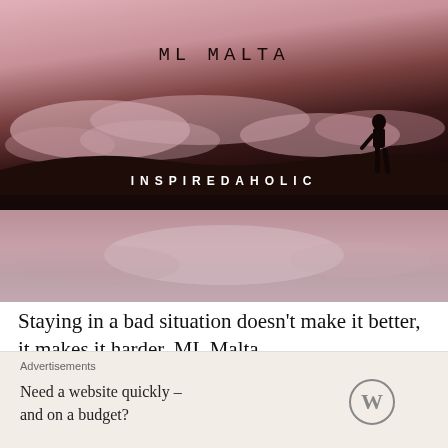[Figure (photo): Hero image for ML Malta Inspiredaholic blog post. Top half shows a dramatic pink/dusky sky with clouds and a silhouette of a person walking on a ridge. Text 'ML MALTA' appears in the upper center in monospace font. 'INSPIREDAHOLIC' appears in bold white spaced letters. Bottom half shows a blurred pink/mauve reflection.]
Staying in a bad situation doesn't make it better, it makes it harder. ML Malta
Inspiredaholic   July 29, 2022
Advertisements
Need a website quickly – and on a budget?